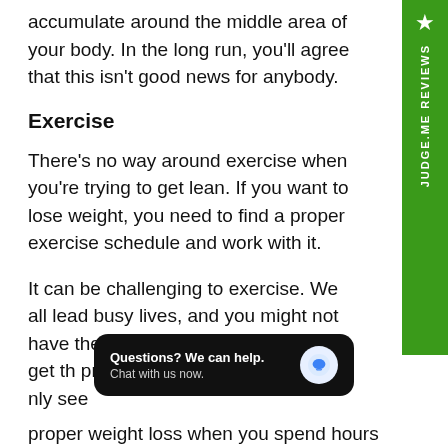accumulate around the middle area of your body. In the long run, you'll agree that this isn't good news for anybody.
Exercise
There's no way around exercise when you're trying to get lean. If you want to lose weight, you need to find a proper exercise schedule and work with it.
It can be challenging to exercise. We all lead busy lives, and you might not have the time of day to come out and get the proper exercise schedule. Many people tend to believe that you can only see proper weight loss when you spend hours
[Figure (screenshot): Chat widget overlay: dark rounded rectangle with text 'Questions? We can help. Chat with us now.' and a blue chat bubble icon on the right.]